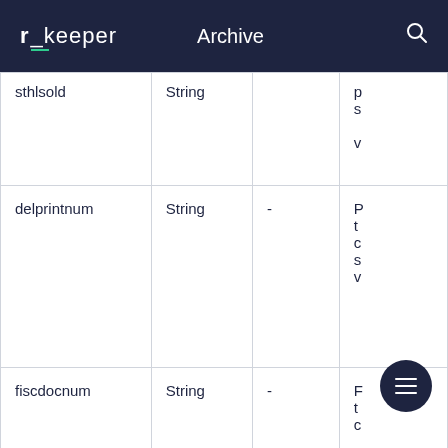r_keeper  Archive
| Field | Type | Required | Description |
| --- | --- | --- | --- |
| sthlsold | String |  | p s v |
| delprintnum | String | - | P t c s v |
| fiscdocnum | String | - | F t c |
| delfiscdocnum | String |  | F |